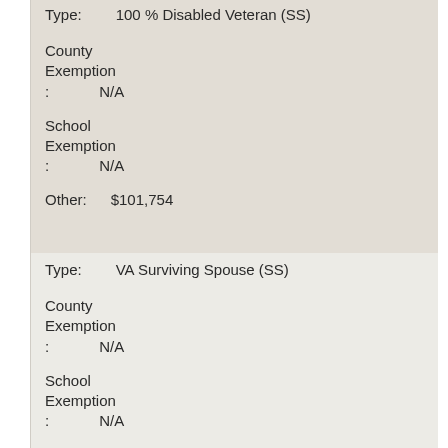Type: 100 % Disabled Veteran (SS)
County Exemption : N/A
School Exemption : N/A
Other: $101,754
Type: VA Surviving Spouse (SS)
County Exemption : N/A
School Exemption : N/A
Other: $101,754